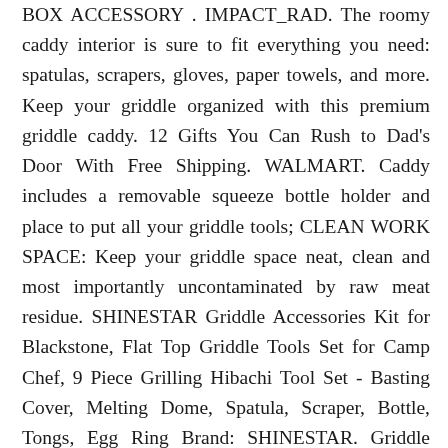BOX ACCESSORY . IMPACT_RAD. The roomy caddy interior is sure to fit everything you need: spatulas, scrapers, gloves, paper towels, and more. Keep your griddle organized with this premium griddle caddy. 12 Gifts You Can Rush to Dad's Door With Free Shipping. WALMART. Caddy includes a removable squeeze bottle holder and place to put all your griddle tools; CLEAN WORK SPACE: Keep your griddle space neat, clean and most importantly uncontaminated by raw meat residue. SHINESTAR Griddle Accessories Kit for Blackstone, Flat Top Griddle Tools Set for Camp Chef, 9 Piece Grilling Hibachi Tool Set - Basting Cover, Melting Dome, Spatula, Scraper, Bottle, Tongs, Egg Ring Brand: SHINESTAR. Griddle caddies are a great way to keep your griddle workstation clean and organized, plus you'll also have all of your tools to hand throughout your cook. Double-sided Griddle Scraper and Table...